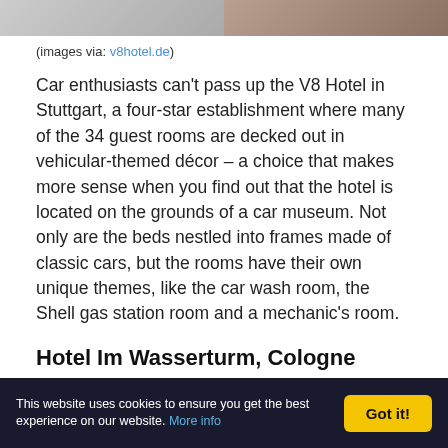[Figure (photo): Two hotel room photos at the top of the page showing vehicular-themed décor]
(images via: v8hotel.de)
Car enthusiasts can't pass up the V8 Hotel in Stuttgart, a four-star establishment where many of the 34 guest rooms are decked out in vehicular-themed décor – a choice that makes more sense when you find out that the hotel is located on the grounds of a car museum. Not only are the beds nestled into frames made of classic cars, but the rooms have their own unique themes, like the car wash room, the Shell gas station room and a mechanic's room.
Hotel Im Wasserturm, Cologne
[Figure (photo): Two photos of Hotel Im Wasserturm in Cologne — left shows the dome of the building, right shows aerial view]
This website uses cookies to ensure you get the best experience on our website. More info